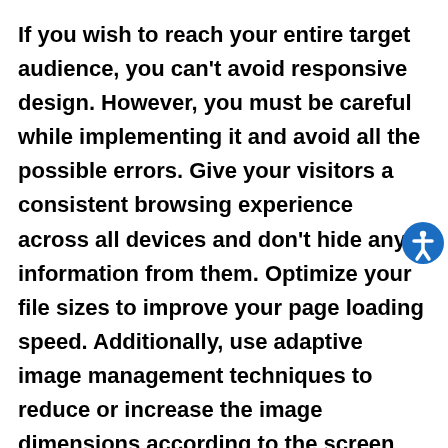If you wish to reach your entire target audience, you can't avoid responsive design. However, you must be careful while implementing it and avoid all the possible errors. Give your visitors a consistent browsing experience across all devices and don't hide any information from them. Optimize your file sizes to improve your page loading speed. Additionally, use adaptive image management techniques to reduce or increase the image dimensions according to the screen sizes.
Don't keep your navigation consistent as it may spoil the browsing experience. The same rule applies to buttons and visual layouts too. Lastly, go for truly responsive design and don't restrict yourself to